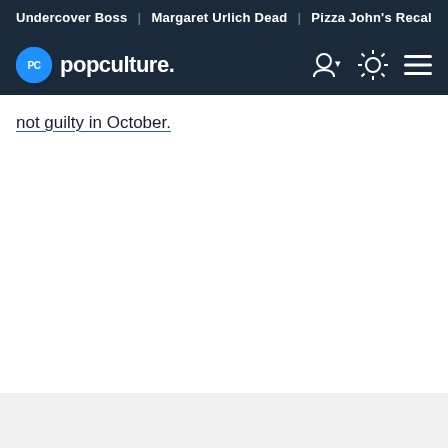Undercover Boss | Margaret Urlich Dead | Pizza John's Recal
[Figure (logo): PopCulture.com logo with navigation icons (user account, theme toggle, hamburger menu)]
not guilty in October.